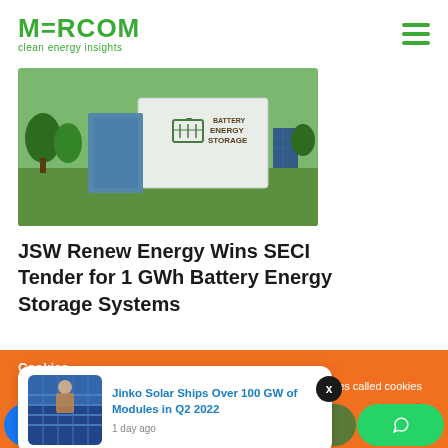MERCOM clean energy insights
[Figure (photo): Battery Energy Storage Systems containers in a green field with solar panels]
JSW Renew Energy Wins SECI Tender for 1 GWh Battery Energy Storage Systems
Cookies
To make this site work properly, we sometimes place small data files called cookies on your device. Most big websites do this too.
[Figure (photo): Jinko Solar factory workers with solar modules thumbnail image]
Jinko Solar Ships Over 100 GW of Modules in Q2 2022
1 day ago